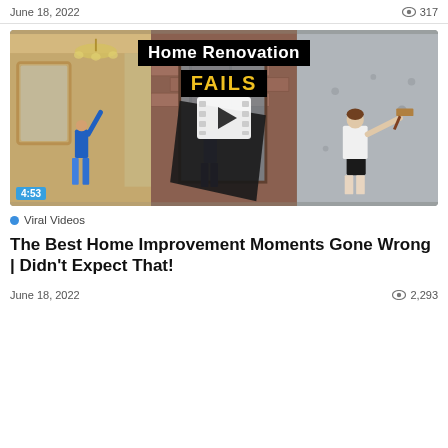June 18, 2022   317
[Figure (screenshot): Video thumbnail for 'Home Renovation FAILS' showing three panels: left panel with a person on ladder near chandelier in ornate room, center panel with a person carrying a large black board near a brick wall, right panel with a woman holding a hammer against a concrete wall. Large white text 'Home Renovation' on black banner and 'FAILS' in yellow on black banner overlaid. Play button icon in center. Duration badge '4:53' in blue at bottom left.]
Viral Videos
The Best Home Improvement Moments Gone Wrong | Didn't Expect That!
June 18, 2022   2,293